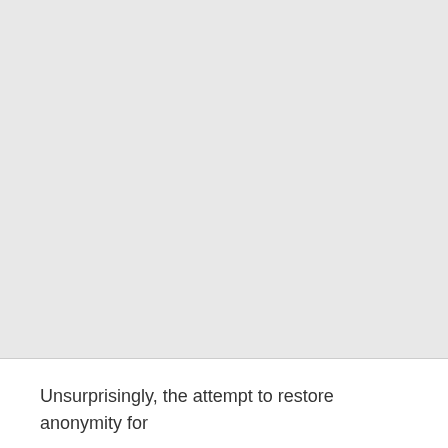[Figure (other): Large light grey blank area, likely a redacted or missing image or figure placeholder occupying the upper portion of the page.]
Unsurprisingly, the attempt to restore anonymity for